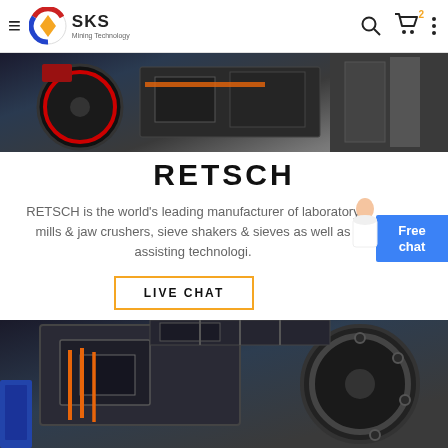SKS Mining Technology
[Figure (photo): Industrial mining machinery — ball mills and conveyor equipment in a factory setting, viewed from below/side angle]
RETSCH
RETSCH is the world's leading manufacturer of laboratory mills & jaw crushers, sieve shakers & sieves as well as assisting technologi.
LIVE CHAT
[Figure (photo): Close-up of heavy industrial jaw crusher or mill machinery with orange belts/cables, dark metal frame, and blue hopper component]